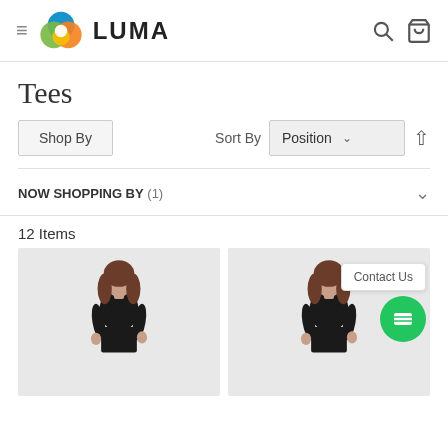[Figure (logo): Luma website header with hamburger menu, colorful logo, brand name LUMA, search icon, and cart icon]
Tees
Shop By | Sort By Position
NOW SHOPPING BY (1)
12 Items
[Figure (photo): Two women wearing black t-shirts, product listing photos]
Contact Us